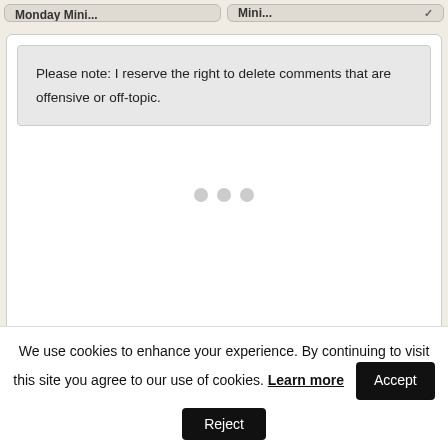Monday Mini... | Mini...
Please note: I reserve the right to delete comments that are offensive or off-topic.
[Figure (other): Three grey loading dots in the center of a white card area]
We use cookies to enhance your experience. By continuing to visit this site you agree to our use of cookies. Learn more
Accept
Reject